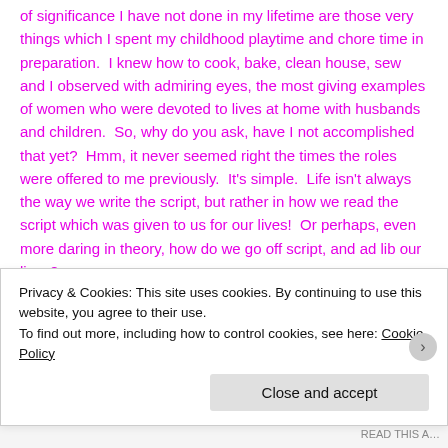of significance I have not done in my lifetime are those very things which I spent my childhood playtime and chore time in preparation.  I knew how to cook, bake, clean house, sew and I observed with admiring eyes, the most giving examples of women who were devoted to lives at home with husbands and children.  So, why do you ask, have I not accomplished that yet?  Hmm, it never seemed right the times the roles were offered to me previously.  It's simple.  Life isn't always the way we write the script, but rather in how we read the script which was given to us for our lives!  Or perhaps, even more daring in theory, how do we go off script, and ad lib our lives?
Privacy & Cookies: This site uses cookies. By continuing to use this website, you agree to their use.
To find out more, including how to control cookies, see here: Cookie Policy
Close and accept